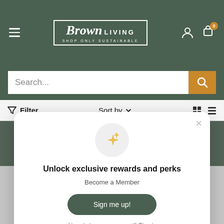[Figure (screenshot): Brown Living e-commerce website header with dark green background, hamburger menu, logo 'Brown Living - Shop Only Sustainable', user account icon, cart icon with 0 badge]
[Figure (screenshot): Search bar with 'Search...' placeholder text and orange search button with magnifying glass icon]
[Figure (screenshot): Filter bar with funnel icon and 'Filter' text, 'Sort by' dropdown, and grid/list view toggle icons]
[Figure (screenshot): Modal popup with sparkle stars icon in a circle, title 'Unlock exclusive rewards and perks', subtitle 'Become a Member', green 'Sign me up!' button, and 'Already have an account? Sign in' text with close X button]